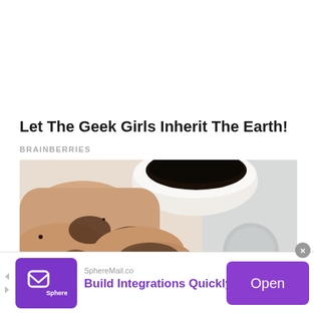Let The Geek Girls Inherit The Earth!
BRAINBERRIES
[Figure (photo): Person applying a dark coffee or soil scrub to their legs in a bathtub, with a bowl of the scrub and a shower head visible]
SphereMail.co
Build Integrations Quickly
Open